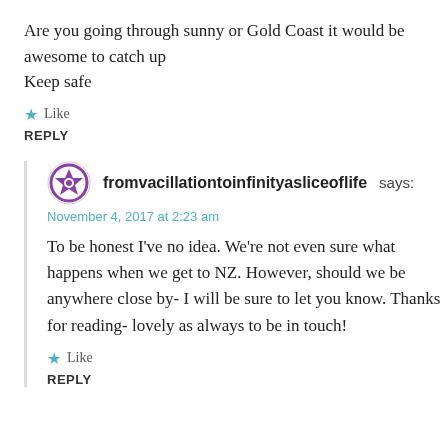Are you going through sunny or Gold Coast it would be awesome to catch up
Keep safe
★ Like
REPLY
fromvacillationtoinfinityasliceoflife says:
November 4, 2017 at 2:23 am
To be honest I've no idea. We're not even sure what happens when we get to NZ. However, should we be anywhere close by- I will be sure to let you know. Thanks for reading- lovely as always to be in touch!
★ Like
REPLY